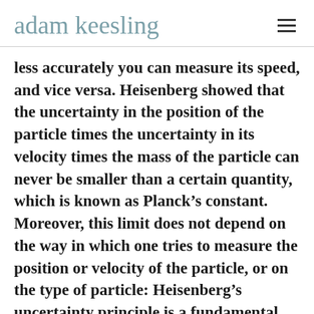adam keesling
less accurately you can measure its speed, and vice versa. Heisenberg showed that the uncertainty in the position of the particle times the uncertainty in its velocity times the mass of the particle can never be smaller than a certain quantity, which is known as Planck’s constant. Moreover, this limit does not depend on the way in which one tries to measure the position or velocity of the particle, or on the type of particle: Heisenberg’s uncertainty principle is a fundamental, inescapable property of the